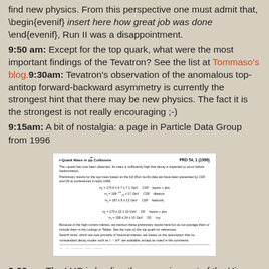find new physics. From this perspective one must admit that, \begin{evenif} insert here how great job was done \end{evenif}, Run II was a disappointment.
9:50 am: Except for the top quark, what were the most important findings of the Tevatron? See the list at Tommaso's blog.9:30am: Tevatron's observation of the anomalous top-antitop forward-backward asymmetry is currently the strongest hint that there may be new physics. The fact it is the strongest is not really encouraging ;-)
9:15am: A bit of nostalgia: a page in Particle Data Group from 1996
[Figure (screenshot): Screenshot of a Particle Data Group page titled 't-Quark Mass in p-pbar Collisions', PRD 54, 1 (1996), showing preliminary top quark mass measurements from CDF and D0 experiments.]
9:00am: The LHC is leading the game in most of the Higgs